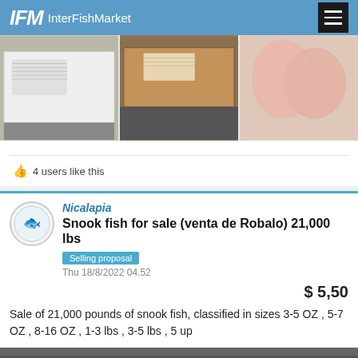IFM InterFishMarket
[Figure (photo): Three product photos: white cardboard box with label, brown cardboard box with label, raw fish fillets in plastic packaging]
4 users like this
Nicalapia
Snook fish for sale (venta de Robalo) 21,000 lbs
Selling proposal
Thu 18/8/2022 04.52
$ 5,50
Sale of 21,000 pounds of snook fish, classified in sizes 3-5 OZ , 5-7 OZ , 8-16 OZ , 1-3 lbs , 3-5 lbs , 5 up
[Figure (photo): Partial bottom photo of fish product]